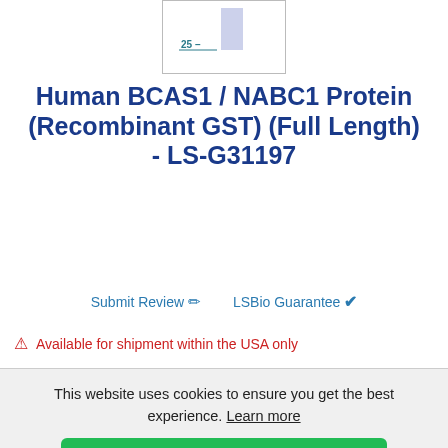[Figure (other): Partial gel electrophoresis image showing a band at the 25 kDa marker. A light purple/blue bar is visible above the 25 marker line.]
Human BCAS1 / NABC1 Protein (Recombinant GST) (Full Length) - LS-G31197
Submit Review  ✏  LSBio Guarantee  ✔
⚠ Available for shipment within the USA only
This website uses cookies to ensure you get the best experience. Learn more
Got it!
| Price | Catalog Number |
| --- | --- |
|  | 97-10 |
| Each |  |
| Unit Size | Quantity |
| 10 |  |